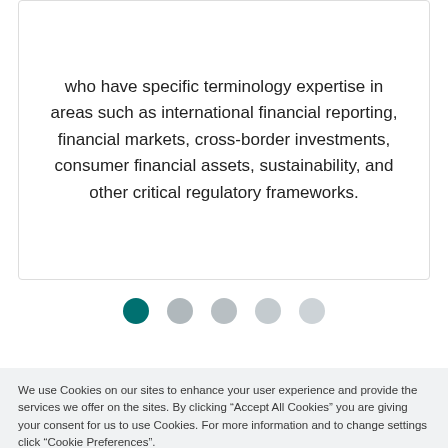who have specific terminology expertise in areas such as international financial reporting, financial markets, cross-border investments, consumer financial assets, sustainability, and other critical regulatory frameworks.
[Figure (other): Carousel navigation dots: one filled teal dot (active) followed by four grey dots (inactive)]
We use Cookies on our sites to enhance your user experience and provide the services we offer on the sites. By clicking “Accept All Cookies” you are giving your consent for us to use Cookies. For more information and to change settings click “Cookie Preferences”.
Cookies Settings
Accept All Cookies.